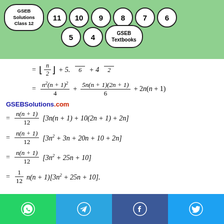GSEB Solutions Class 12 | 11 | 10 | 9 | 8 | 7 | 6 | 5 | 4 | GSEB Textbooks
GSEBSolutions.com